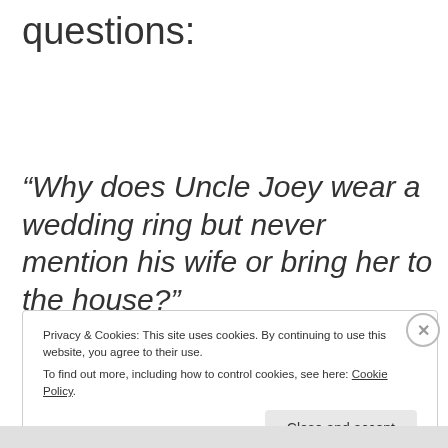questions:
“Why does Uncle Joey wear a wedding ring but never mention his wife or bring her to the house?”
Privacy & Cookies: This site uses cookies. By continuing to use this website, you agree to their use.
To find out more, including how to control cookies, see here: Cookie Policy
Close and accept